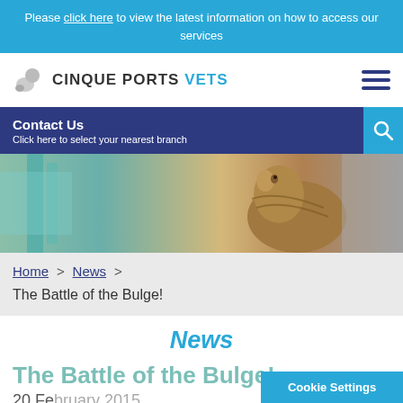Please click here to view the latest information on how to access our services
[Figure (logo): Cinque Ports Vets logo with animal illustration and text]
Contact Us
Click here to select your nearest branch
[Figure (photo): Hero image of a kitten looking sideways with blurred background of shelves]
Home > News > The Battle of the Bulge!
News
The Battle of the Bulge!
20 February 2015